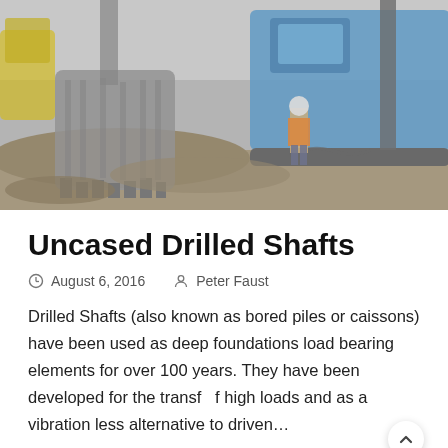[Figure (photo): Construction site photo showing a drilling rig (blue heavy machinery) with a large auger/bucket on the left and a worker in safety gear on the right, surrounded by excavated earth and soil.]
Uncased Drilled Shafts
August 6, 2016   Peter Faust
Drilled Shafts (also known as bored piles or caissons) have been used as deep foundations load bearing elements for over 100 years. They have been developed for the transf  f high loads and as a vibration less alternative to driven…